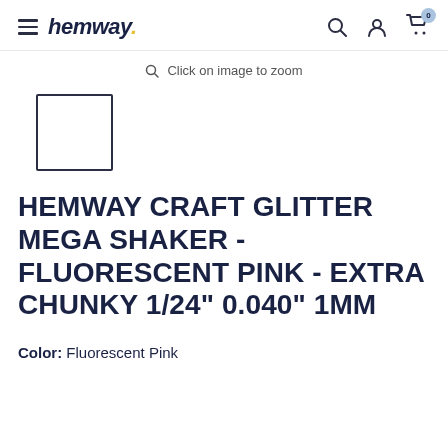hemway.
Click on image to zoom
[Figure (photo): Small thumbnail placeholder box with dark border, white interior]
HEMWAY CRAFT GLITTER MEGA SHAKER - FLUORESCENT PINK - EXTRA CHUNKY 1/24" 0.040" 1MM
Color:  Fluorescent Pink